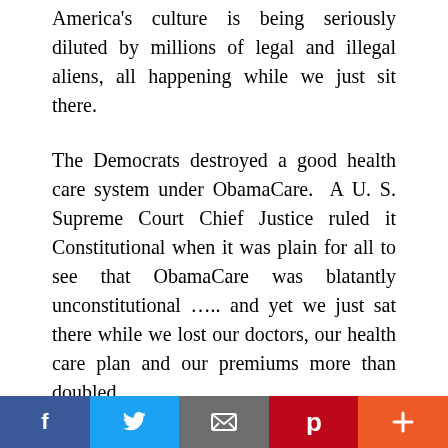America's culture is being seriously diluted by millions of legal and illegal aliens, all happening while we just sit there.
The Democrats destroyed a good health care system under ObamaCare. A U. S. Supreme Court Chief Justice ruled it Constitutional when it was plain for all to see that ObamaCare was blatantly unconstitutional ….. and yet we just sat there while we lost our doctors, our health care plan and our premiums more than doubled.
For at least three generations, our kids in public schools and colleges have been and are being brainwashed and
[Figure (infographic): Social media sharing bar with five buttons: Facebook (blue), Twitter (light blue), Email (dark gray), Pinterest (dark red), and a plus/more button (orange-red)]